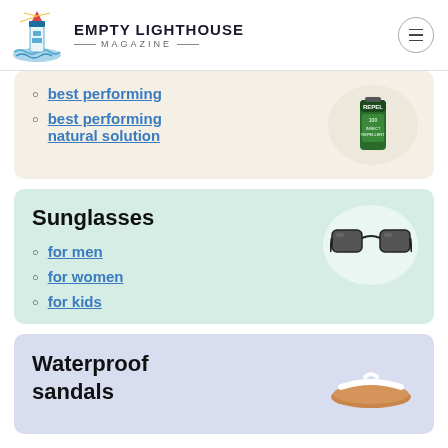EMPTY LIGHTHOUSE MAGAZINE
best performing
best performing natural solution
Sunglasses
for men
for women
for kids
Waterproof sandals